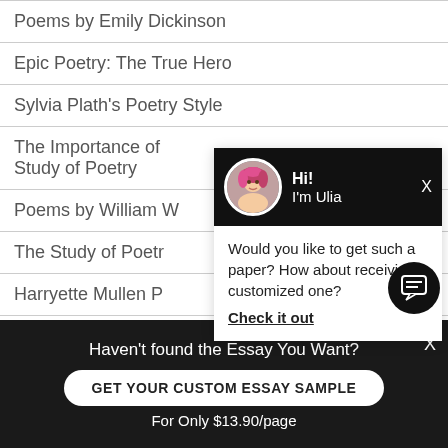Poems by Emily Dickinson
Epic Poetry: The True Hero
Sylvia Plath's Poetry Style
The Importance of ... Study of Poetry
Poems by William W...
The Study of Poetr...
Harryette Mullen P...
[Figure (screenshot): Chat popup with avatar of a person with pink/red hair, header 'Hi! I'm Ulia' on black background, body text 'Would you like to get such a paper? How about receiving a customized one? Check it out']
Haven't found the Essay You Want?
GET YOUR CUSTOM ESSAY SAMPLE
For Only $13.90/page